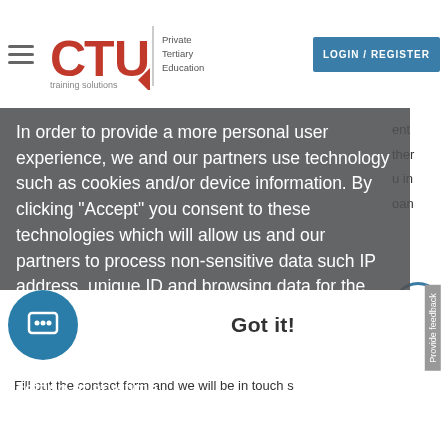CTU Private Tertiary Education | LOGIN / REGISTER
In order to provide a more personal user experience, we and our partners use technology such as cookies and/or device information. By clicking “Accept” you consent to these technologies which will allow us and our partners to process non-sensitive data such IP address, unique ID and browsing data for the purpose of serving personal ads and content measurement. Your choices on this site will be applied only for this site. You can change your setting at any time.
Learn more
Got it!
Fill out the contact form and we will be in touch s
Provide feedback